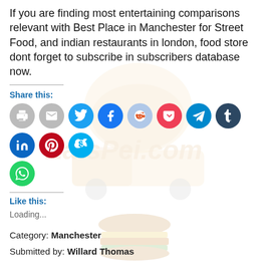If you are finding most entertaining comparisons relevant with Best Place in Manchester for Street Food, and indian restaurants in london, food store dont forget to subscribe in subscribers database now.
Share this:
[Figure (other): Row of social media share buttons: print, email, Twitter, Facebook, Reddit, Pocket, Telegram, Tumblr, LinkedIn, Pinterest, Skype, WhatsApp]
Like this:
Loading...
Category: Manchester
Submitted by: Willard Thomas
[Figure (illustration): Faded burger/food truck watermark logo for EatsPei.com in background, and a partially visible burger illustration at the bottom]